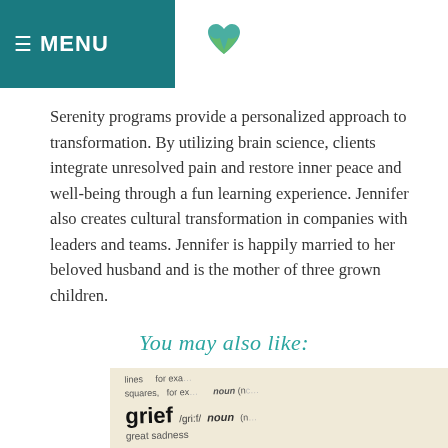≡ MENU
[Figure (logo): Heart-shaped logo in teal and green colors centered in the header]
Serenity programs provide a personalized approach to transformation. By utilizing brain science, clients integrate unresolved pain and restore inner peace and well-being through a fun learning experience. Jennifer also creates cultural transformation in companies with leaders and teams. Jennifer is happily married to her beloved husband and is the mother of three grown children.
You may also like:
[Figure (photo): Close-up photograph of a dictionary page showing entries for grief /gri:f/ noun, grieve /gri:v/ verb, grieved /gri:vd/ — great sadness definitions on a cream/beige background]